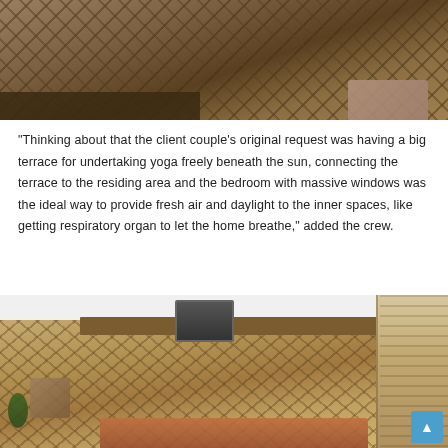[Figure (photo): Interior room photo showing herringbone wood parquet floor, low wooden shelf/cabinet unit on the left, and a leather cushion/pillow on the right side. View from slightly above.]
“Thinking about that the client couple’s original request was having a big terrace for undertaking yoga freely beneath the sun, connecting the terrace to the residing area and the bedroom with massive windows was the ideal way to provide fresh air and daylight to the inner spaces, like getting respiratory organ to let the home breathe,” added the crew.
[Figure (photo): Aerial/overhead view of a modern living room interior with herringbone wood floor, L-shaped wooden TV unit with TV and plant, leather sofa, wooden dining table with chairs, indoor plant, and terrace/wooden deck visible on the right through large windows.]